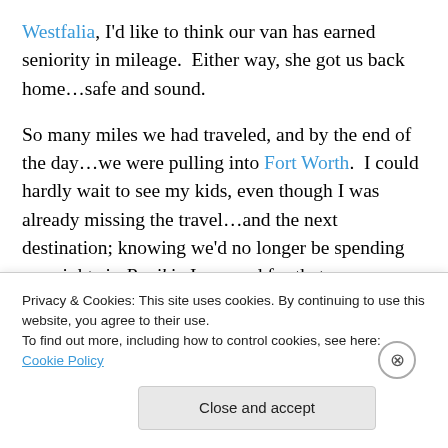Westfalia, I'd like to think our van has earned seniority in mileage.  Either way, she got us back home…safe and sound.
So many miles we had traveled, and by the end of the day…we were pulling into Fort Worth.  I could hardly wait to see my kids, even though I was already missing the travel…and the next destination; knowing we'd no longer be spending our nights in Peniki.  I was sad for that.
It wasn't long after our return that we settled back into the old routine, but our journey was still fresh on our minds...
Privacy & Cookies: This site uses cookies. By continuing to use this website, you agree to their use.
To find out more, including how to control cookies, see here: Cookie Policy